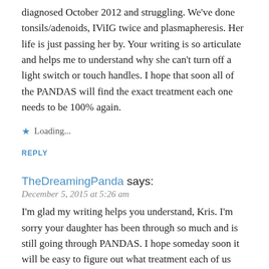Thank you so much for writing about this. My daughter is 10 diagnosed October 2012 and struggling. We've done tonsils/adenoids, IViIG twice and plasmapheresis. Her life is just passing her by. Your writing is so articulate and helps me to understand why she can't turn off a light switch or touch handles. I hope that soon all of the PANDAS will find the exact treatment each one needs to be 100% again.
Loading...
REPLY
TheDreamingPanda says:
December 5, 2015 at 5:26 am
I'm glad my writing helps you understand, Kris. I'm sorry your daughter has been through so much and is still going through PANDAS. I hope someday soon it will be easy to figure out what treatment each of us needs to get better. Wishing you all the best in finding the right one for your daughter.